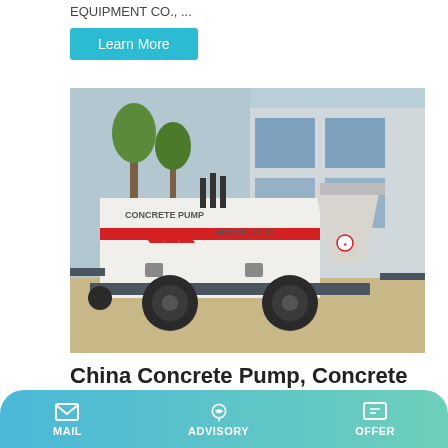EQUIPMENT CO., ...
Learn More
[Figure (photo): Photo of a white concrete pump machine labeled 'CONCRETE PUMP HBTS50-12-62' with red chevron markings, mounted on wheels, parked in front of a building.]
China Concrete Pump, Concrete Machinery, Selferecting
MAIL   ADVISORY   OFFER